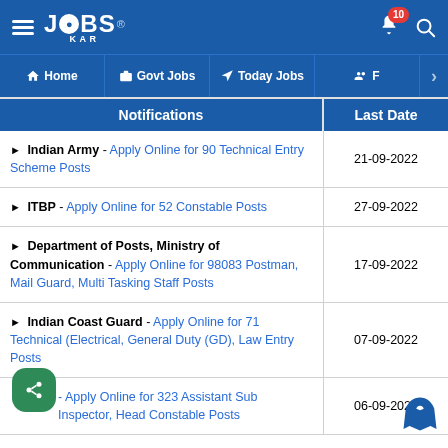JOBS KAR - Notifications app header with hamburger menu, logo, bell notification (10), and search icon
Navigation: Home | Govt Jobs | Today Jobs | F >
| Notifications | Last Date |
| --- | --- |
| ▶ Indian Army - Apply Online for 90 Technical Entry Scheme Posts | 21-09-2022 |
| ▶ ITBP - Apply Online for 52 Constable Posts | 27-09-2022 |
| ▶ Department of Posts, Ministry of Communication - Apply Online for 98083 Postman, Mail Guard, Multi Tasking Staff Posts | 17-09-2022 |
| ▶ Indian Coast Guard - Apply Online for 71 Technical (Electrical, General Duty (GD), Law Entry Posts | 07-09-2022 |
| - Apply Online for 323 Assistant Sub Inspector, Head Constable Posts | 06-09-2022 |